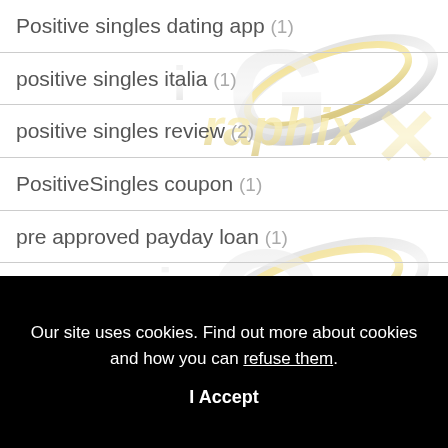Positive singles dating app (1)
positive singles italia (1)
positive singles review (2)
PositiveSingles coupon (1)
pre approved payday loan (1)
professional college essay writers (1)
[Figure (logo): iGraphix watermark logo repeated in background — silver and gold stylized text with orbital ring graphic]
Our site uses cookies. Find out more about cookies and how you can refuse them.
I Accept